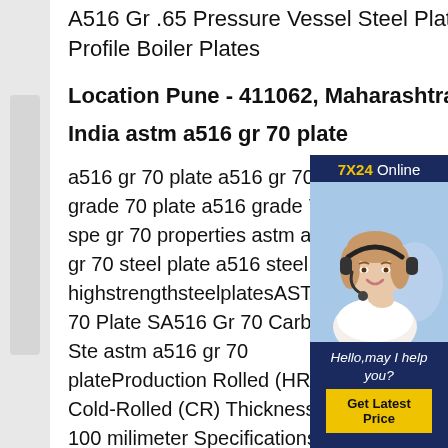A516 Gr .65 Pressure Vessel Steel Plate , ASME SA516 Gr .70 Profile Boiler Plates
Location Pune - 411062, Maharashtra
India astm a516 gr 70 plate
a516 gr 70 plate a516 gr 70 steel grade 70 plate a516 grade 70 spe gr 70 properties astm a516 gr 70 steel plate a516 steel highstrengthsteelplatesASTM A5 70 Plate SA516 Gr 70 Carbon Ste astm a516 gr 70 plateProduction Rolled (HR) / Cold-Rolled (CR) Thickness 8-100 milimeter Specifications ASTM A516 Width 1500-3500 milimeter ASTM A516 Grade 70 Plate is an improved notch toughness plate that is intended for use in low to medium temperature
[Figure (photo): Customer service representative wearing headset, smiling. Overlay box with '7X24 Online' header in navy and yellow, 'Hello,may I help you?' text, and 'Get Latest Price' yellow button.]